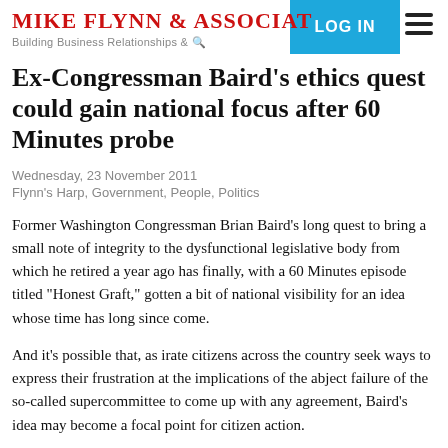MIKE FLYNN & ASSOCIATES
Ex-Congressman Baird's ethics quest could gain national focus after 60 Minutes probe
Wednesday, 23 November 2011
Flynn's Harp, Government, People, Politics
Former Washington Congressman Brian Baird's long quest to bring a small note of integrity to the dysfunctional legislative body from which he retired a year ago has finally, with a 60 Minutes episode titled "Honest Graft," gotten a bit of national visibility for an idea whose time has long since come.
And it's possible that, as irate citizens across the country seek ways to express their frustration at the implications of the abject failure of the so-called supercommittee to come up with any agreement, Baird's idea may become a focal point for citizen action.
During the last three of his six terms representing the state's 3rd District, Democrat Baird sought unsuccessfully